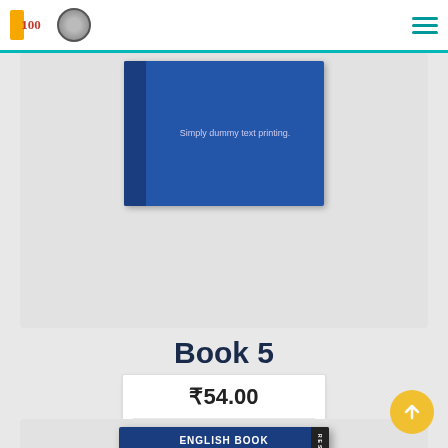[Figure (screenshot): Website header with logo icons on the left and hamburger menu icon on the right, separated by a teal horizontal line]
[Figure (illustration): Partially visible book cover with blue background and dummy text 'Simply dummy text printing.']
Book 5
₹54.00
[Figure (illustration): Book cover: ENGLISH BOOK RESEARCH by Bela Gpp, Citation-based Plagiarism Detection, Detecting Disguised and Cross-language Plagiarism using Citation Pattern Analysis, New Solution 2017]